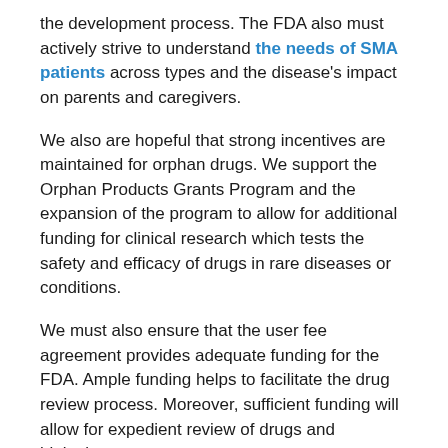the development process. The FDA also must actively strive to understand the needs of SMA patients across types and the disease's impact on parents and caregivers.
We also are hopeful that strong incentives are maintained for orphan drugs. We support the Orphan Products Grants Program and the expansion of the program to allow for additional funding for clinical research which tests the safety and efficacy of drugs in rare diseases or conditions.
We must also ensure that the user fee agreement provides adequate funding for the FDA. Ample funding helps to facilitate the drug review process. Moreover, sufficient funding will allow for expedient review of drugs and biologics.
We also strongly support the FDA's hiring of internal experts on orphan diseases. The Food and Drug Administration Safety and Innovation Act, signed into law in July of 2012 added a provision that included consultation with external experts on rare diseases, and the 21st Century Cures Act would lift certain salary caps at the FDA, which would encourage the hiring of